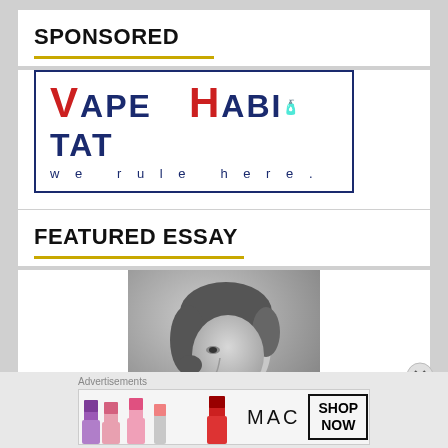SPONSORED
[Figure (logo): Vape Habitat logo with red and dark blue text, tagline 'we rule here.' inside a dark blue bordered rectangle]
FEATURED ESSAY
[Figure (photo): Black and white portrait photograph of a person with curly hair, viewed from the side/profile]
Advertisements
[Figure (infographic): MAC cosmetics advertisement banner showing lipsticks in purple, pink, and red with MAC logo and SHOP NOW button]